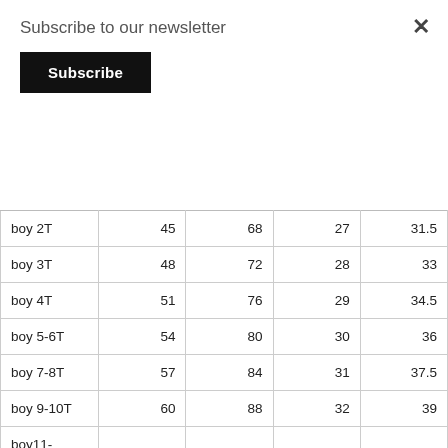Subscribe to our newsletter
Subscribe
| boy 2T | 45 | 68 | 27 | 31.5 |
| boy 3T | 48 | 72 | 28 | 33 |
| boy 4T | 51 | 76 | 29 | 34.5 |
| boy 5-6T | 54 | 80 | 30 | 36 |
| boy 7-8T | 57 | 84 | 31 | 37.5 |
| boy 9-10T | 60 | 88 | 32 | 39 |
| boy11-12T | 63 | 92 | 33 | 40.5 |
| boy 13-14T | 66 | 96 | 34 | 42 |
| girl 12M | 52 | 64 | 26 |  |